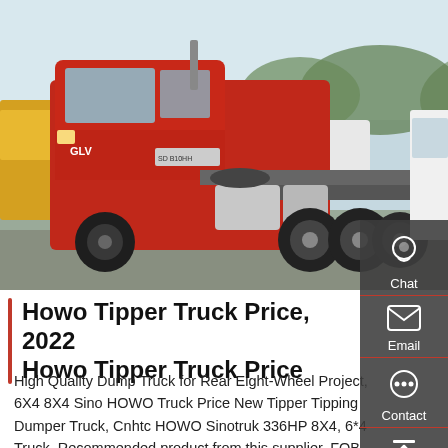[Figure (photo): Red Howo tractor/tipper truck parked in a yard, side view, with other trucks visible in background]
Howo Tipper Truck Price, 2022 Howo Tipper Truck Price
High Quality Dump Truck for Rear Eight-Wheel Project, 6X4 8X4 Sino HOWO Truck Price New Tipper Tipping Dumper Truck, Cnhtc HOWO Sinotruk 336HP 8X4, 6*4 Truck. Recommended product from this supplier. FOB Price: US $ 15000-35000 / Piece. Min. Order: 1 Piece. Uptra Electric & Machinery (Shanghai)